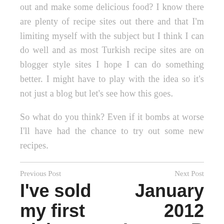out and make some delicious food? I know there are plenty of recipe sites out there and that I'm limiting myself with the subject but I think I can do well and as most Turkish recipe sites are on blogger style sites I hope I can do something better. I might have to play with the idea so it's not just a blog but let's see how this goes.
So what do you think? Even if it bombs at worse I'll have had the chance to try out some new recipes.
Previous Post | I've sold my first niche ... | Next Post | January 2012 Income R...